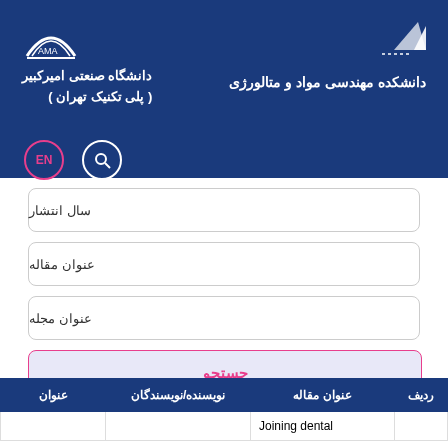[Figure (logo): AMA logo (arch with letters) - top left in header]
[Figure (logo): Triangular/mountain logo - top right in header]
دانشکده مهندسی مواد و متالورژی
دانشگاه صنعتی امیرکبیر
( پلی تکنیک تهران )
EN
🔍
سال انتشار
عنوان مقاله
عنوان مجله
جستجو
| ردیف | عنوان مقاله | نویسنده/نویسندگان | عنوان |
| --- | --- | --- | --- |
|  | Joining dental |  |  |